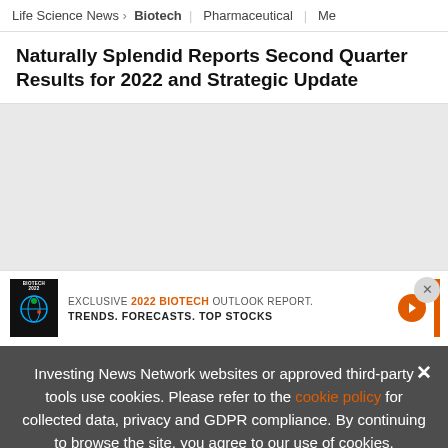Life Science News > Biotech | Pharmaceutical | Me
Naturally Splendid Reports Second Quarter Results for 2022 and Strategic Update
[Figure (other): Grey content area placeholder]
[Figure (other): Advertisement banner: EXCLUSIVE 2022 BIOTECH OUTLOOK REPORT. TRENDS. FORECASTS. TOP STOCKS with orange arrow button and vertical orange bar. Close X button top right.]
Investing News Network websites or approved third-party tools use cookies. Please refer to the cookie policy for collected data, privacy and GDPR compliance. By continuing to browse the site, you agree to our use of cookies.